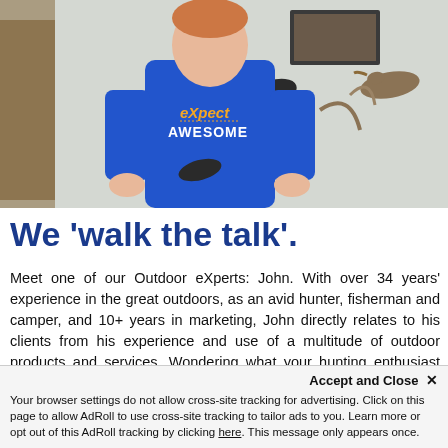[Figure (photo): Man in blue 'eXpect AWESOME' t-shirt standing in room with taxidermy duck mounts on the wall behind him]
We 'walk the talk'.
Meet one of our Outdoor eXperts: John. With over 34 years' experience in the great outdoors, as an avid hunter, fisherman and camper, and 10+ years in marketing, John directly relates to his clients from his experience and use of a multitude of outdoor products and services. Wondering what your hunting enthusiast end-user would want for a thank you gift? To keep them engaged, just ask
Accept and Close ×
Your browser settings do not allow cross-site tracking for advertising. Click on this page to allow AdRoll to use cross-site tracking to tailor ads to you. Learn more or opt out of this AdRoll tracking by clicking here. This message only appears once.